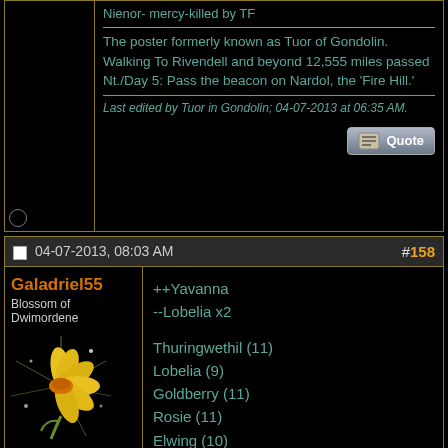Nienor- mercy-killed by TF
The poster formerly known as Tuor of Gondolin. Walking To Rivendell and beyond 12,555 miles passed Nt./Day 5: Pass the beacon on Nardol, the 'Fire Hill.'
Last edited by Tuor in Gondolin; 04-07-2013 at 06:35 AM.
04-07-2013, 08:03 AM  #158
Galadriel55
Blossom of Dwimordene
[Figure (illustration): Yellow daffodil flower with sparkle effect on black background]
Join Date: Oct 2010
Location: The realm of forgotten words
Posts: 9,944
++Yavanna
--Lobelia x2

Thuringwethil (11)
Lobelia (9)
Goldberry (11)
Rosie (11)
Elwing (10)
Nienna (8)
Ar-Zimraphel (10)
Areadhel (10)
Yavanna (7)
Nerdanel (8)
Shelob (8)
Erendis (10)